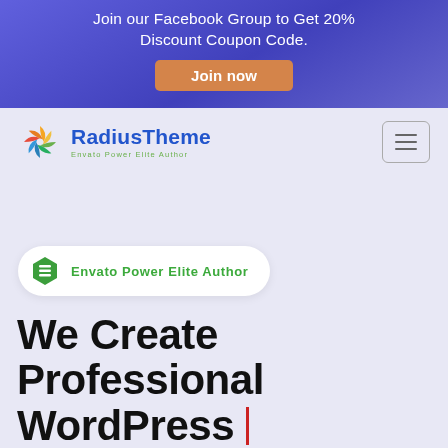Join our Facebook Group to Get 20% Discount Coupon Code.
[Figure (other): Orange 'Join now' button on blue/purple gradient banner]
[Figure (logo): RadiusTheme logo with colorful swirl icon, blue text 'RadiusTheme', green tagline 'Envato Power Elite Author']
[Figure (other): Hamburger menu icon button (three horizontal lines) in a rounded rectangle border]
[Figure (infographic): White pill badge with green hexagon Envato icon and green bold text 'Envato Power Elite Author']
We Create Professional WordPress |